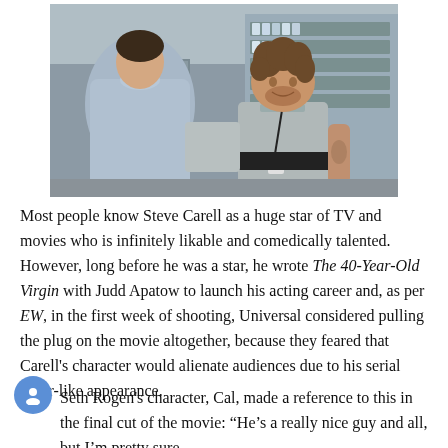[Figure (photo): A movie still from The 40-Year-Old Virgin showing two men in what appears to be an electronics store. One man with curly hair and a lanyard/name badge (Seth Rogen) faces a man seen from behind wearing a light blue polo shirt (Steve Carell). Store shelves with electronics products are visible in the background.]
Most people know Steve Carell as a huge star of TV and movies who is infinitely likable and comedically talented. However, long before he was a star, he wrote The 40-Year-Old Virgin with Judd Apatow to launch his acting career and, as per EW, in the first week of shooting, Universal considered pulling the plug on the movie altogether, because they feared that Carell's character would alienate audiences due to his serial killer-like appearance.
Seth Rogen's character, Cal, made a reference to this in the final cut of the movie: “He’s a really nice guy and all, but I’m pretty sure